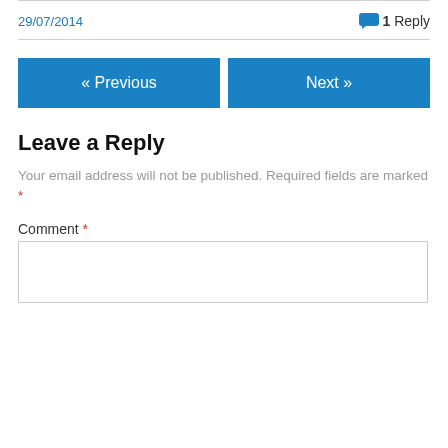29/07/2014
1 Reply
« Previous
Next »
Leave a Reply
Your email address will not be published. Required fields are marked *
Comment *